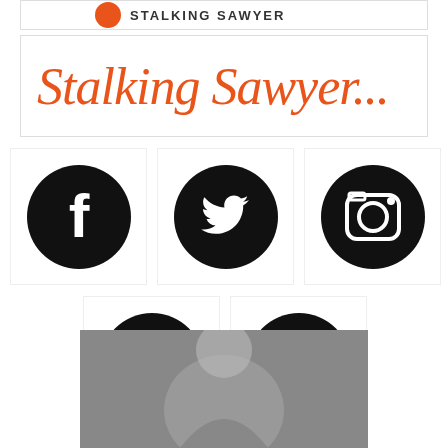[Figure (logo): Partial top banner with orange logo/icon and text, clipped at top]
Stalking Sawyer...
[Figure (infographic): Five social media icons in black circles: Facebook, Twitter, Instagram (top row), Goodreads, Website/WWW (bottom row)]
[Figure (photo): Black and white photo of a shirtless muscular man, cropped at bottom of page]